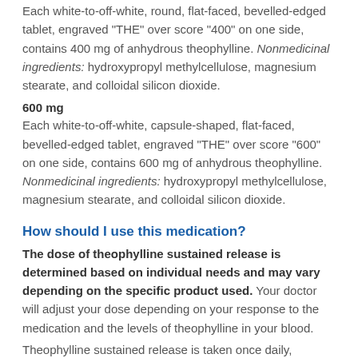Each white-to-off-white, round, flat-faced, bevelled-edged tablet, engraved "THE" over score "400" on one side, contains 400 mg of anhydrous theophylline. Nonmedicinal ingredients: hydroxypropyl methylcellulose, magnesium stearate, and colloidal silicon dioxide.
600 mg
Each white-to-off-white, capsule-shaped, flat-faced, bevelled-edged tablet, engraved "THE" over score "600" on one side, contains 600 mg of anhydrous theophylline. Nonmedicinal ingredients: hydroxypropyl methylcellulose, magnesium stearate, and colloidal silicon dioxide.
How should I use this medication?
The dose of theophylline sustained release is determined based on individual needs and may vary depending on the specific product used. Your doctor will adjust your dose depending on your response to the medication and the levels of theophylline in your blood.
Theophylline sustained release is taken once daily, generally in